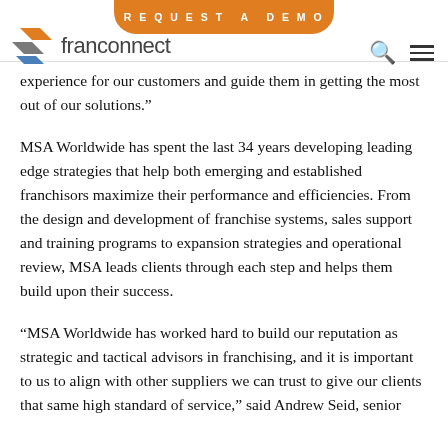REQUEST A DEMO | franconnect
experience for our customers and guide them in getting the most out of our solutions."
MSA Worldwide has spent the last 34 years developing leading edge strategies that help both emerging and established franchisors maximize their performance and efficiencies. From the design and development of franchise systems, sales support and training programs to expansion strategies and operational review, MSA leads clients through each step and helps them build upon their success.
“MSA Worldwide has worked hard to build our reputation as strategic and tactical advisors in franchising, and it is important to us to align with other suppliers we can trust to give our clients that same high standard of service,” said Andrew Seid, senior